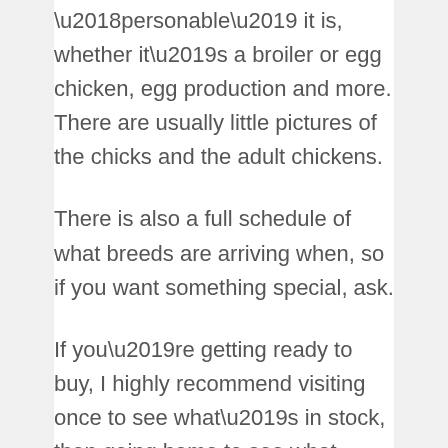‘personable’ it is, whether it’s a broiler or egg chicken, egg production and more. There are usually little pictures of the chicks and the adult chickens.
There is also a full schedule of what breeds are arriving when, so if you want something special, ask.
If you’re getting ready to buy, I highly recommend visiting once to see what’s in stock, then going home to see what breeds might